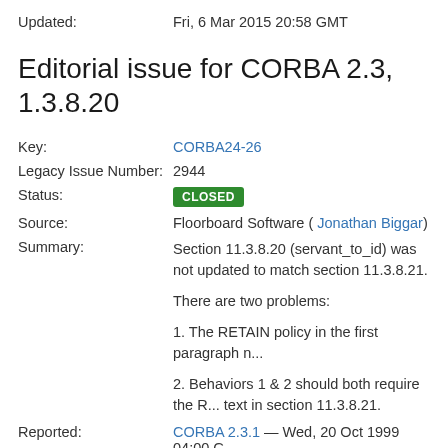Updated: Fri, 6 Mar 2015 20:58 GMT
Editorial issue for CORBA 2.3, 1.3.8.20
Key: CORBA24-26
Legacy Issue Number: 2944
Status: CLOSED
Source: Floorboard Software ( Jonathan Biggar)
Summary: Section 11.3.8.20 (servant_to_id) was not updated to match section 11.3.8.21. There are two problems: 1. The RETAIN policy in the first paragraph n... 2. Behaviors 1 & 2 should both require the R... text in section 11.3.8.21.
Reported: CORBA 2.3.1 — Wed, 20 Oct 1999 04:00 G...
Disposition: Resolved — CORBA 2.4